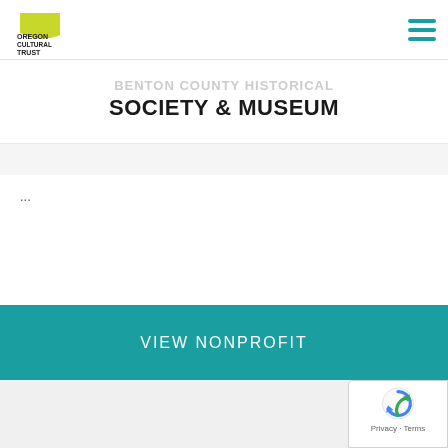Oregon Cultural Trust — Benton County Historical Society & Museum
BENTON COUNTY HISTORICAL
SOCIETY & MUSEUM
...
VIEW NONPROFIT
[Figure (screenshot): Placeholder image icon showing stacked photo cards with a person silhouette, in gray]
[Figure (logo): reCAPTCHA badge with Privacy and Terms links]